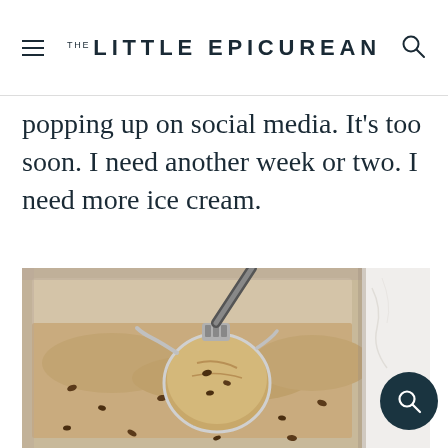THE LITTLE EPICUREAN
popping up on social media. It's too soon. I need another week or two. I need more ice cream.
[Figure (photo): Overhead view of an ice cream container with a metal ice cream scoop scooping a ball of light beige/coffee ice cream with chocolate chip mix-ins, in a metal loaf pan on a white marble surface.]